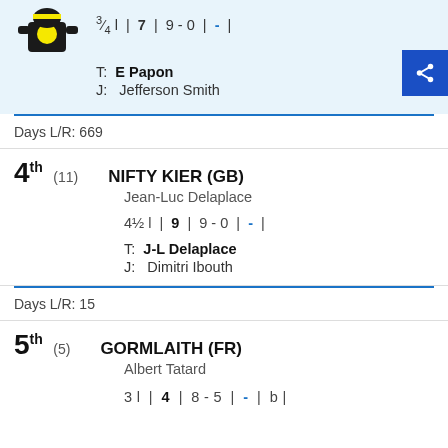¾ l | 7 | 9 - 0 | - |
T: E Papon
J: Jefferson Smith
Days L/R: 669
4th (11) NIFTY KIER (GB) Jean-Luc Delaplace
4½ l | 9 | 9 - 0 | - |
T: J-L Delaplace
J: Dimitri Ibouth
Days L/R: 15
5th (5) GORMLAITH (FR) Albert Tatard